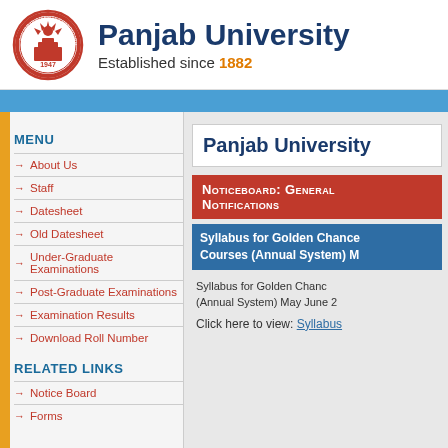[Figure (logo): Panjab University circular seal/emblem in red with text and year 1947]
Panjab University
Established since 1882
MENU
About Us
Staff
Datesheet
Old Datesheet
Under-Graduate Examinations
Post-Graduate Examinations
Examination Results
Download Roll Number
RELATED LINKS
Notice Board
Forms
Panjab University
Noticeboard: General Notifications
Syllabus for Golden Chance Courses (Annual System) M
Syllabus for Golden Chanc (Annual System) May June 2
Click here to view: Syllabus